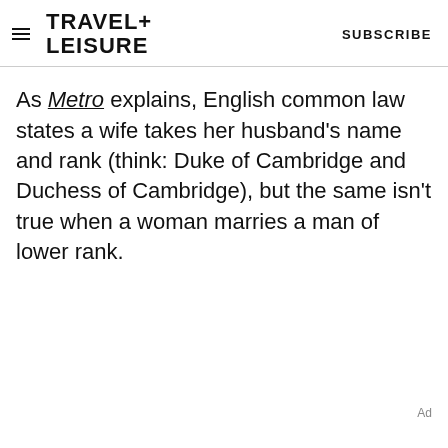TRAVEL+ LEISURE   SUBSCRIBE
As Metro explains, English common law states a wife takes her husband's name and rank (think: Duke of Cambridge and Duchess of Cambridge), but the same isn't true when a woman marries a man of lower rank.
Ad